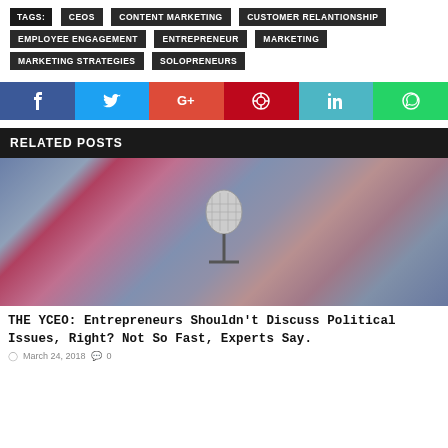TAGS: CEOS CONTENT MARKETING CUSTOMER RELANTIONSHIP EMPLOYEE ENGAGEMENT ENTREPRENEUR MARKETING MARKETING STRATEGIES SOLOPRENEURS
[Figure (infographic): Social media share buttons: Facebook, Twitter, Google+, Pinterest, LinkedIn, WhatsApp]
RELATED POSTS
[Figure (photo): Blurred crowd of people in the background with a microphone in the foreground]
THE YCEO: Entrepreneurs Shouldn't Discuss Political Issues, Right? Not So Fast, Experts Say.
March 24, 2018  0